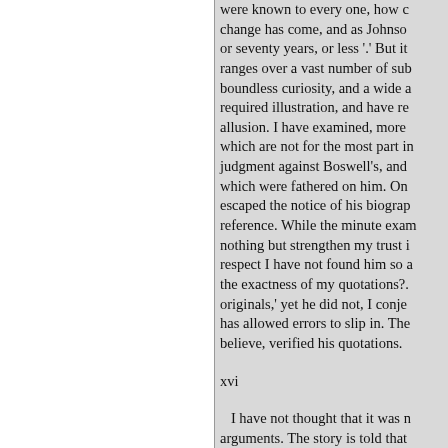were known to every one, how change has come, and as Johnson or seventy years, or less '.' But it ranges over a vast number of sub boundless curiosity, and a wide a required illustration, and have re allusion. I have examined, more which are not for the most part in judgment against Boswell's, and which were fathered on him. On escaped the notice of his biograp reference. While the minute exam nothing but strengthen my trust i respect I have not found him so a the exactness of my quotations?. originals,' yet he did not, I conje has allowed errors to slip in. The believe, verified his quotations.
xvi
I have not thought that it was arguments. The story is told that members of the Russian Council